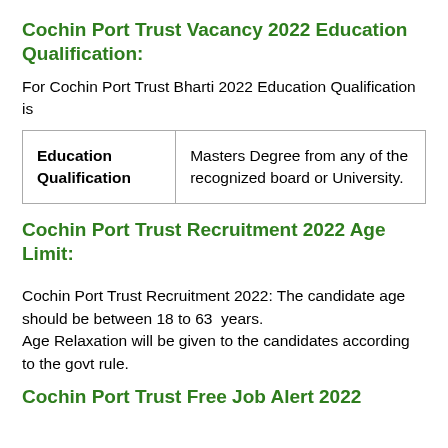Cochin Port Trust Vacancy 2022 Education Qualification:
For Cochin Port Trust Bharti 2022 Education Qualification is
| Education Qualification |  |
| --- | --- |
| Education Qualification | Masters Degree from any of the recognized board or University. |
Cochin Port Trust Recruitment 2022 Age Limit:
Cochin Port Trust Recruitment 2022: The candidate age should be between 18 to 63  years.
Age Relaxation will be given to the candidates according to the govt rule.
Cochin Port Trust Free Job Alert 2022